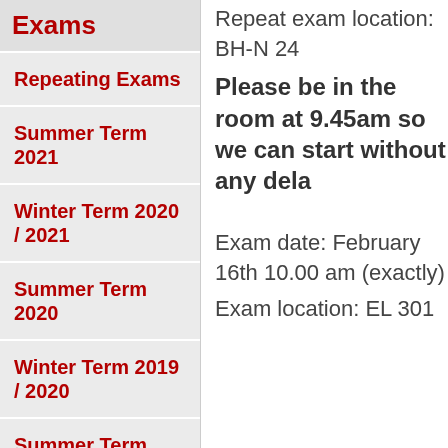Exams
Repeating Exams
Summer Term 2021
Winter Term 2020 / 2021
Summer Term 2020
Winter Term 2019 / 2020
Summer Term 2019
Winter Term 2018
Repeat exam location: BH-N 24
Please be in the room at 9.45am so we can start without any dela
Exam date: February 16th 10.00 am (exactly)
Exam location: EL 301